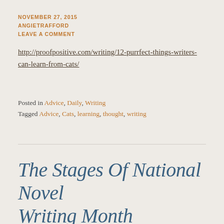NOVEMBER 27, 2015
ANGIETRAFFORD
LEAVE A COMMENT
http://proofpositive.com/writing/12-purrfect-things-writers-can-learn-from-cats/
Posted in Advice, Daily, Writing
Tagged Advice, Cats, learning, thought, writing
The Stages Of National Novel Writing Month